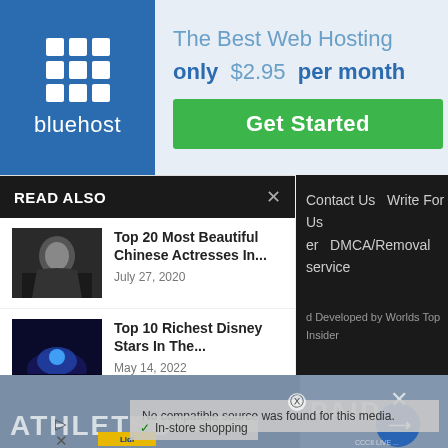[Figure (screenshot): Bluehost web hosting advertisement banner with logo on blue background and 'The Best Web Hosting only $2.95 per month' text with green Get Started button]
[Figure (screenshot): Read Also widget showing two articles: 'Top 20 Most Beautiful Chinese Actresses In...' dated July 27, 2020 and 'Top 10 Richest Disney Stars In The...' dated May 14, 2022]
[Figure (screenshot): Dark navigation panel showing Contact Us, Write For Us, DMCA/Removal, service links]
[Figure (screenshot): Overlapping ad content showing 'ATHLETES' text, 'PAID' label, 'In-store shopping' text, error message 'No compatible source was found for this media', and various ad elements]